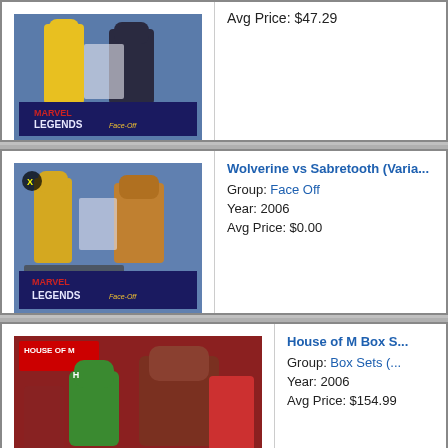[Figure (photo): Marvel Legends Face-Off Wolverine vs opponent action figure 2-pack in packaging, top row]
Avg Price: $47.29
[Figure (photo): Marvel Legends Face-Off Wolverine vs Sabretooth action figure 2-pack in packaging]
Wolverine vs Sabretooth (Varia...
Group: Face Off
Year: 2006
Avg Price: $0.00
[Figure (photo): House of M box set action figures in packaging, multiple figures including green and red characters]
House of M Box S...
Group: Box Sets (...
Year: 2006
Avg Price: $154.99